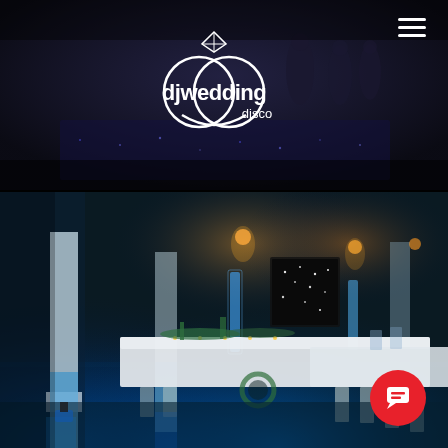[Figure (photo): Dark wedding reception dance floor with purple/blue atmospheric lighting and people dancing in background]
[Figure (logo): DJ Wedding Disco logo - white circular rings with diamond on top and text 'djwedding disco']
[Figure (photo): Elegant wedding reception venue room with blue uplighting on white columns, long white-clothed banquet tables with floral centerpieces and candles, chiavari chairs]